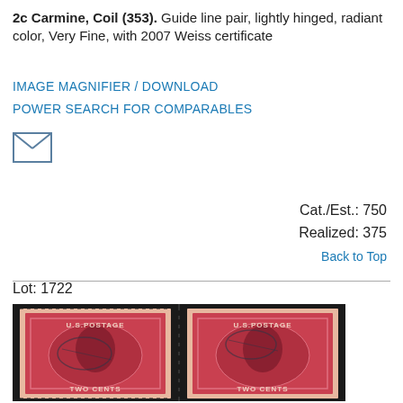2c Carmine, Coil (353). Guide line pair, lightly hinged, radiant color, Very Fine, with 2007 Weiss certificate
IMAGE MAGNIFIER / DOWNLOAD
POWER SEARCH FOR COMPARABLES
[Figure (illustration): Envelope icon (mail symbol)]
Cat./Est.: 750
Realized: 375
Back to Top
Lot: 1722
[Figure (photo): Photograph of a 2c Carmine coil stamp guide line pair (Scott #353), showing two red U.S. Postage TWO CENTS stamps with Washington portrait side by side, with perforations and guide line between them, used condition with cancels visible.]